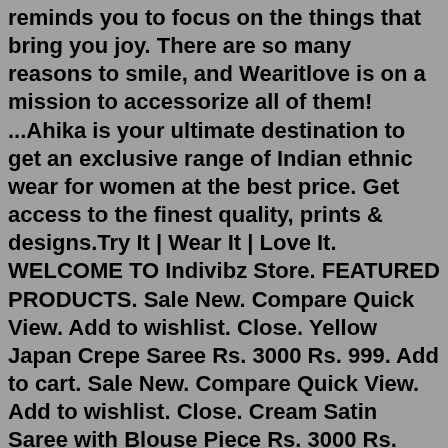reminds you to focus on the things that bring you joy. There are so many reasons to smile, and Wearitlove is on a mission to accessorize all of them! ...Ahika is your ultimate destination to get an exclusive range of Indian ethnic wear for women at the best price. Get access to the finest quality, prints & designs.Try It | Wear It | Love It. WELCOME TO Indivibz Store. FEATURED PRODUCTS. Sale New. Compare Quick View. Add to wishlist. Close. Yellow Japan Crepe Saree Rs. 3000 Rs. 999. Add to cart. Sale New. Compare Quick View. Add to wishlist. Close. Cream Satin Saree with Blouse Piece Rs. 3000 Rs. 999. Add to cart. Sale New. CompareBuy it, Wear it, Love it Wednesday, July 28, 2010. The First Week in August. That is my hopeful, tentative date of return to wearing shoes on both feet and walking normally again. I think I would like to get back in the swing of things, so I don't think I will be starting back up with the 30 for 30 challenge.TROUSERS/SHORTS. ACCESSORIES. NEW ARRIVAL. Wear it. Like it. Brand for men who like to stay ahead of trends. Let's